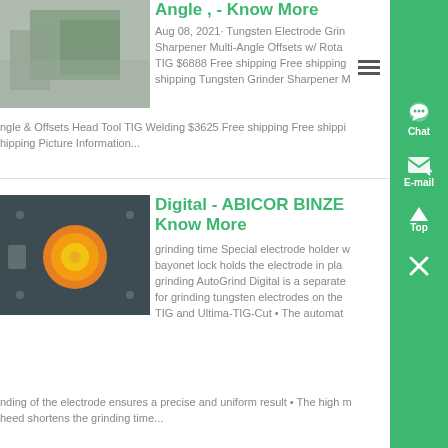[Figure (photo): Industrial machinery/equipment photo, partially visible at top left]
Angle , - Know More
Aug 08, 2021· Tungsten Electrode Grinder Sharpener Multi-Angle Offsets w/ Rotary TIG $6888 Free shipping Free shipping Free shipping Tungsten Grinder Sharpener Multi-Angle & Offsets Head Tool TIG Welding $3625 Free shipping Free shipping Picture Information...
[Figure (photo): Close-up photo of an industrial electrode or circular component mounted on a metal plate with rivets]
Digital - ABICOR BINZEL - Know More
grinding time Special electrode holder with bayonet lock holds the electrode in place during grinding AutoGrind Digital is a separate unit for grinding tungsten electrodes on the TIG and Ultima-TIG-Cut • The automatic grinding of the electrode ensures a precise and uniform result • The high motor speed shortens the grinding time...